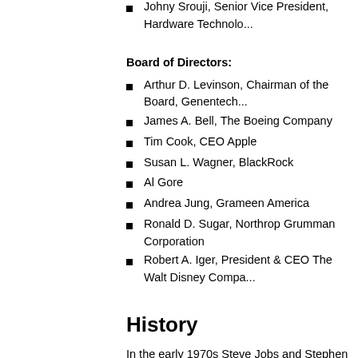Johny Srouji, Senior Vice President, Hardware Technolo...
Board of Directors:
Arthur D. Levinson, Chairman of the Board, Genentech...
James A. Bell, The Boeing Company
Tim Cook, CEO Apple
Susan L. Wagner, BlackRock
Al Gore
Andrea Jung, Grameen America
Ronald D. Sugar, Northrop Grumman Corporation
Robert A. Iger, President & CEO The Walt Disney Compa...
History
In the early 1970s Steve Jobs and Stephen "Woz" Wozniak... the "Cream Soda" computer that Wozniak had built on his o... Packard, where they got to know each other better. Their fir... which one could make free long distance calls, since the de... company. This was the first demonstration of the division of... With his technical know-how, Wozniak was responsible for m... material and managed sales. The two young entrepreneurs...
Jobs and Wozniak were part of the first generation of the "H... engineers who were enthusiastic about technology could do...